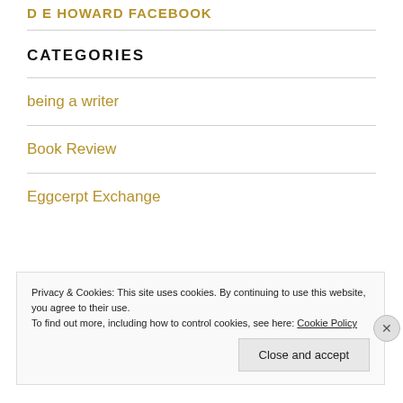D E HOWARD FACEBOOK
CATEGORIES
being a writer
Book Review
Eggcerpt Exchange
Privacy & Cookies: This site uses cookies. By continuing to use this website, you agree to their use.
To find out more, including how to control cookies, see here: Cookie Policy
Close and accept